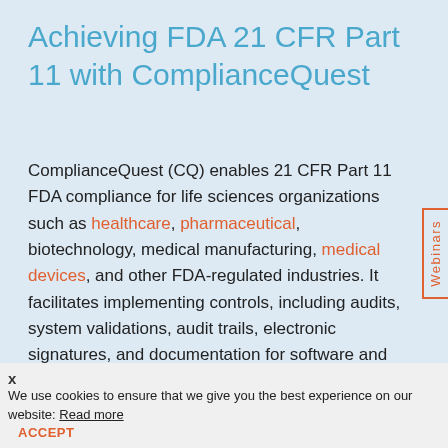Achieving FDA 21 CFR Part 11 with ComplianceQuest
ComplianceQuest (CQ) enables 21 CFR Part 11 FDA compliance for life sciences organizations such as healthcare, pharmaceutical, biotechnology, medical manufacturing, medical devices, and other FDA-regulated industries. It facilitates implementing controls, including audits, system validations, audit trails, electronic signatures, and documentation for software and systems that are involved in processing many forms of data, business
We use cookies to ensure that we give you the best experience on our website: Read more   ACCEPT